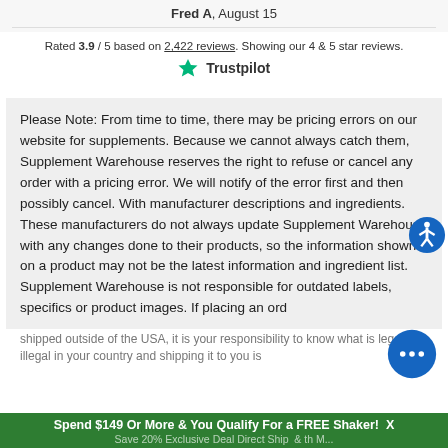Fred A, August 15
Rated 3.9 / 5 based on 2,422 reviews. Showing our 4 & 5 star reviews.
[Figure (logo): Trustpilot logo with green star and bold Trustpilot text]
Please Note: From time to time, there may be pricing errors on our website for supplements. Because we cannot always catch them, Supplement Warehouse reserves the right to refuse or cancel any order with a pricing error. We will notify of the error first and then possibly cancel. With manufacturer descriptions and ingredients. These manufacturers do not always update Supplement Warehouse with any changes done to their products, so the information shown on a product may not be the latest information and ingredient list. Supplement Warehouse is not responsible for outdated labels, specifics or product images. If placing an ord... shipped outside of the USA, it is your responsibility to know what is legal or illegal in your country and shipping it to you is
Spend $149 Or More & You Qualify For a FREE Shaker! X